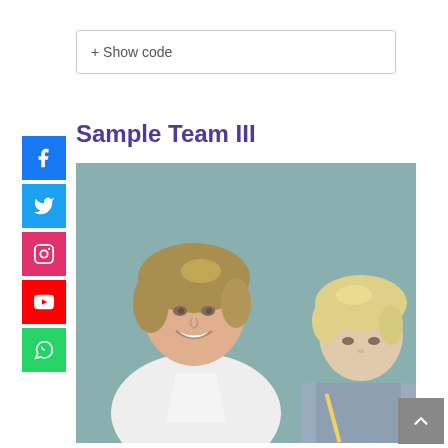+ Show code
Sample Team III
[Figure (photo): A smiling female teacher leaning over a young blonde boy who is writing, with a green chalkboard background.]